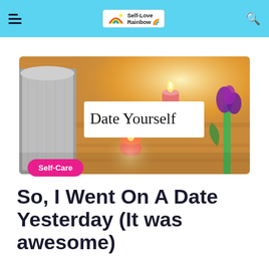Self-Love Rainbow — navigation header with hamburger menu and search icon
[Figure (photo): Spa/self-care styled photo with candles, a rolled towel, and a flower on a wooden surface with warm golden light. White overlay box reads 'Date Yourself' in handwritten font. Pink pill badge reads 'Self-Care'.]
So, I Went On A Date Yesterday (It was awesome)